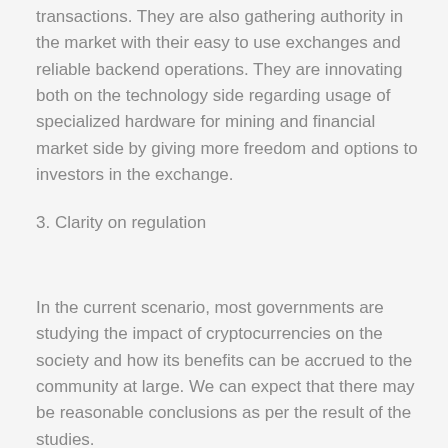transactions. They are also gathering authority in the market with their easy to use exchanges and reliable backend operations. They are innovating both on the technology side regarding usage of specialized hardware for mining and financial market side by giving more freedom and options to investors in the exchange.
3. Clarity on regulation
In the current scenario, most governments are studying the impact of cryptocurrencies on the society and how its benefits can be accrued to the community at large. We can expect that there may be reasonable conclusions as per the result of the studies.